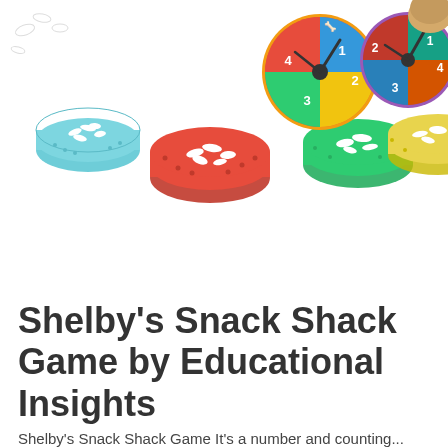[Figure (photo): Product photo of Shelby's Snack Shack Game components: colorful patterned bowls (teal, red, green, yellow) filled with white bone-shaped pieces, and spinner/clock discs with dog-themed artwork and numbers, arranged on a white background.]
Shelby's Snack Shack Game by Educational Insights
Shelby's Snack Shack Game It's a number and counting...